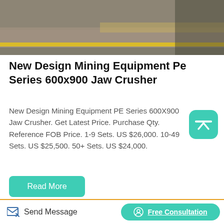[Figure (photo): Photo of mining/industrial equipment in a warehouse, showing concrete floor with yellow line marking]
New Design Mining Equipment Pe Series 600x900 Jaw Crusher
New Design Mining Equipment PE Series 600X900 Jaw Crusher. Get Latest Price. Purchase Qty. Reference FOB Price. 1-9 Sets. US $26,000. 10-49 Sets. US $25,500. 50+ Sets. US $24,000.
Read More
[Figure (photo): Photo of yellow industrial mining/processing equipment with dark tray compartments and a gray box on top]
Send Message   Free Consultation